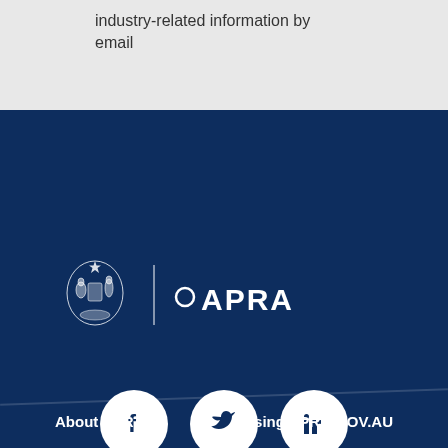industry-related information by email
[Figure (logo): APRA (Australian Prudential Regulation Authority) logo with Australian Coat of Arms on dark blue footer background]
[Figure (infographic): Social media icons: Facebook, Twitter, LinkedIn in white circles on dark blue background]
About APRA
Using APRA.GOV.AU